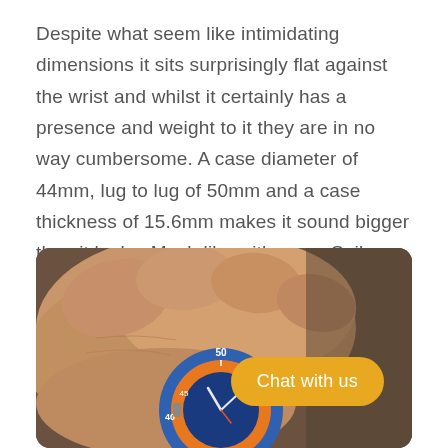Despite what seem like intimidating dimensions it sits surprisingly flat against the wrist and whilst it certainly has a presence and weight to it they are in no way cumbersome. A case diameter of 44mm, lug to lug of 50mm and a case thickness of 15.6mm makes it sound bigger than it looks. Much like with some Seiko dive watches the short lug to lug makes it wear more modest and comfortably than you would first think.
[Figure (photo): Close-up photo of a hand holding a dive watch with a blue and orange bezel showing markings including 40, 45, 50, with a 'Chat with us' button overlay in bottom right]